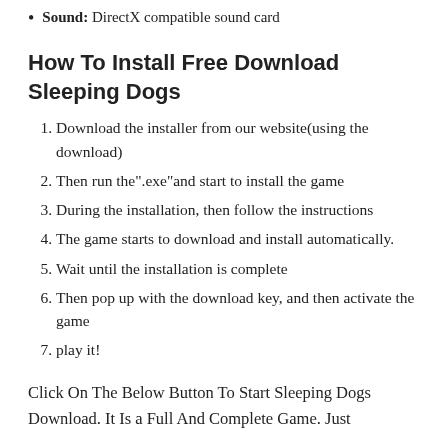Sound: DirectX compatible sound card
How To Install Free Download Sleeping Dogs
Download the installer from our website(using the download)
Then run the".exe"and start to install the game
During the installation, then follow the instructions
The game starts to download and install automatically.
Wait until the installation is complete
Then pop up with the download key, and then activate the game
play it!
Click On The Below Button To Start Sleeping Dogs Download. It Is a Full And Complete Game. Just